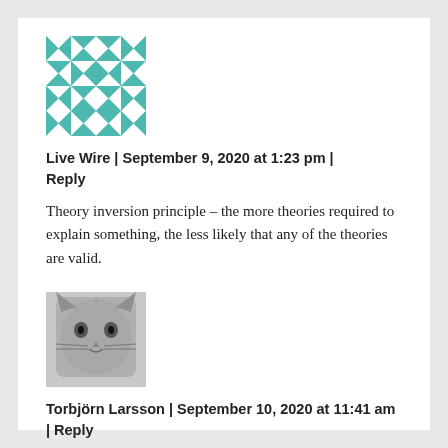[Figure (illustration): Teal/white geometric quilt-pattern avatar square]
Live Wire | September 9, 2020 at 1:23 pm | Reply
Theory inversion principle – the more theories required to explain something, the less likely that any of the theories are valid.
[Figure (photo): Grayscale photo of a cat or animal face, close-up]
Torbjörn Larsson | September 10, 2020 at 11:41 am | Reply